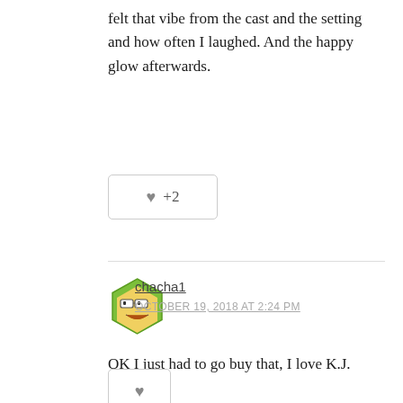felt that vibe from the cast and the setting and how often I laughed. And the happy glow afterwards.
[Figure (other): Like/vote button showing a heart icon and +2 count]
[Figure (illustration): User avatar for chacha1 - hexagonal cartoon face with glasses]
chacha1
OCTOBER 19, 2018 AT 2:24 PM
OK I just had to go buy that, I love K.J. Charles.
[Figure (other): Like/vote button showing a heart icon, no count]